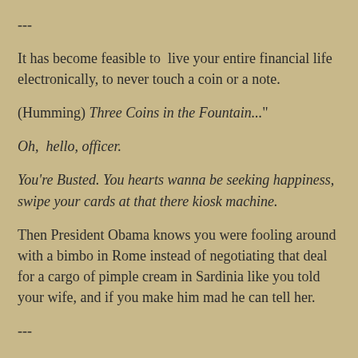---
It has become feasible to  live your entire financial life electronically, to never touch a coin or a note.
(Humming) Three Coins in the Fountain..."
Oh,  hello, officer.
You're Busted. You hearts wanna be seeking happiness, swipe your cards at that there kiosk machine.
Then President Obama knows you were fooling around with a bimbo in Rome instead of negotiating that deal for a cargo of pimple cream in Sardinia like you told your wife, and if you make him mad he can tell her.
---
It's about the war on cash, of course, the exchange medium which permits a citizen to exercise a little of whatever